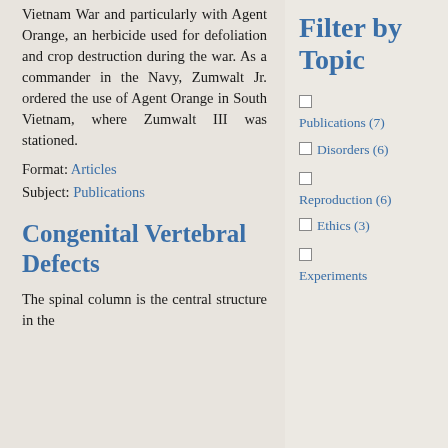Vietnam War and particularly with Agent Orange, an herbicide used for defoliation and crop destruction during the war. As a commander in the Navy, Zumwalt Jr. ordered the use of Agent Orange in South Vietnam, where Zumwalt III was stationed.
Format: Articles
Subject: Publications
Congenital Vertebral Defects
The spinal column is the central structure in the
Filter by Topic
Publications (7)
Disorders (6)
Reproduction (6)
Ethics (3)
Experiments